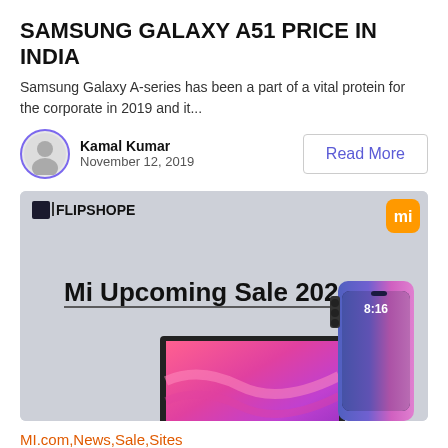SAMSUNG GALAXY A51 PRICE IN INDIA
Samsung Galaxy A-series has been a part of a vital protein for the corporate in 2019 and it...
Kamal Kumar
November 12, 2019
[Figure (illustration): Promotional banner for Mi Upcoming Sale 2022 by Flipshope, showing a Xiaomi smartphone and a Mi TV with colorful abstract wallpaper on a gray background, with Mi logo in orange top-right.]
MI.com,News,Sale,Sites